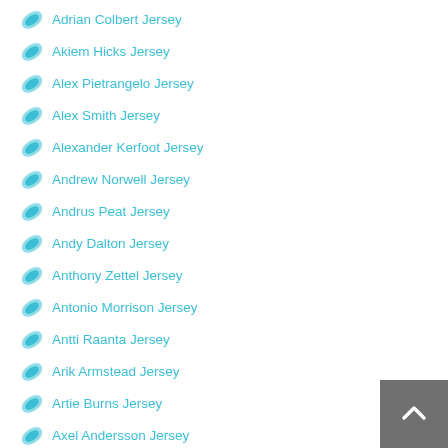Adrian Colbert Jersey
Akiem Hicks Jersey
Alex Pietrangelo Jersey
Alex Smith Jersey
Alexander Kerfoot Jersey
Andrew Norwell Jersey
Andrus Peat Jersey
Andy Dalton Jersey
Anthony Zettel Jersey
Antonio Morrison Jersey
Antti Raanta Jersey
Arik Armstead Jersey
Artie Burns Jersey
Axel Andersson Jersey
Baltimore Ravens Jersey